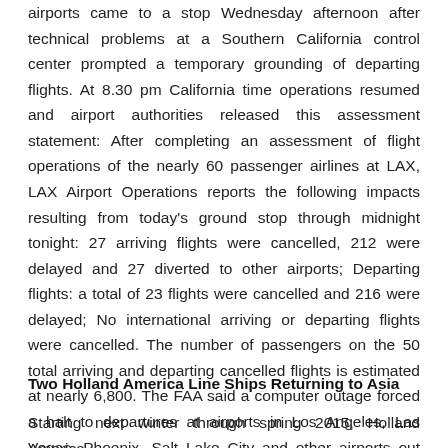Flight operations at Los Angeles International and other area airports came to a stop Wednesday afternoon after technical problems at a Southern California control center prompted a temporary grounding of departing flights. At 8.30 pm California time operations resumed and airport authorities released this assessment statement: After completing an assessment of flight operations of the nearly 60 passenger airlines at LAX, LAX Airport Operations reports the following impacts resulting from today's ground stop through midnight tonight: 27 arriving flights were cancelled, 212 were delayed and 27 diverted to other airports; Departing flights: a total of 23 flights were cancelled and 216 were delayed; No international arriving or departing flights were cancelled. The number of passengers on the 50 total arriving and departing cancelled flights is estimated at nearly 6,800. The FAA said a computer outage forced a halt to departures at airports in Los Angeles, Las Vegas, Phoenix, Salt Lake City and other airports out west.
Two Holland America Line Ships Returning to Asia
Starting next winter through spring 2015, Holland America Line will be…